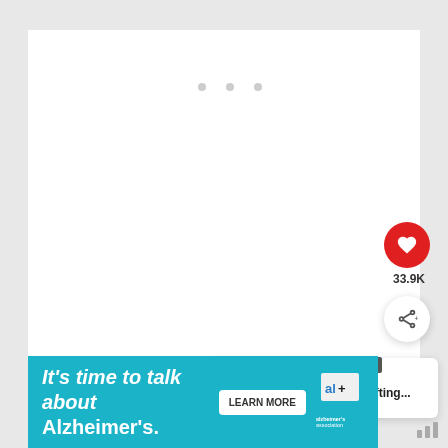[Figure (screenshot): White content area with three grey dots (loading indicator) near the top center]
[Figure (infographic): Red circular heart/like button showing 33.9K likes]
[Figure (infographic): White circular share button with share icon]
33.9K
[Figure (infographic): WHAT'S NEXT panel with thumbnail and text: God Quotes: Uplifting...]
WHAT'S NEXT → God Quotes: Uplifting...
[Figure (infographic): Alzheimer's Association advertisement banner: It's time to talk about Alzheimer's. LEARN MORE]
It's time to talk about Alzheimer's.